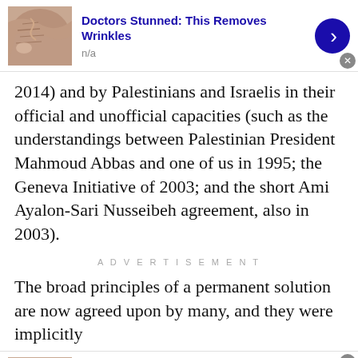[Figure (advertisement): Ad banner: thumbnail of skin/wrinkles photo, bold blue title 'Doctors Stunned: This Removes Wrinkles', subtitle 'n/a', blue arrow circle button, close X button]
2014) and by Palestinians and Israelis in their official and unofficial capacities (such as the understandings between Palestinian President Mahmoud Abbas and one of us in 1995; the Geneva Initiative of 2003; and the short Ami Ayalon-Sari Nusseibeh agreement, also in 2003).
ADVERTISEMENT
The broad principles of a permanent solution are now agreed upon by many, and they were implicitly
[Figure (advertisement): Ad banner: thumbnail of skin/wrinkles photo, bold blue title 'Doctors Stunned: This Removes Wrinkles', subtitle 'n/a', blue arrow circle button, close X button]